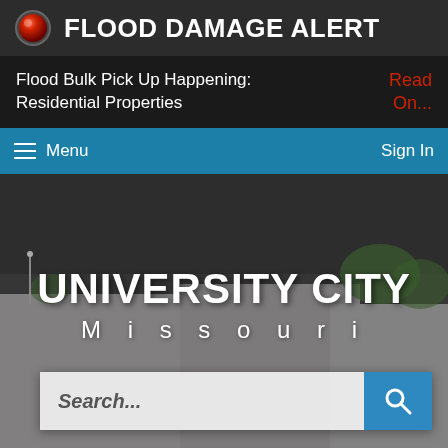FLOOD DAMAGE ALERT
Flood Bulk Pick Up Happening: Residential Properties
Read On...
Menu   Sign In
[Figure (photo): Aerial/street view of a city building with rooftops and trees in background, overlaid with white text reading UNIVERSITY CITY Missouri. A search bar is visible at the bottom of the image.]
UNIVERSITY CITY Missouri
Search...